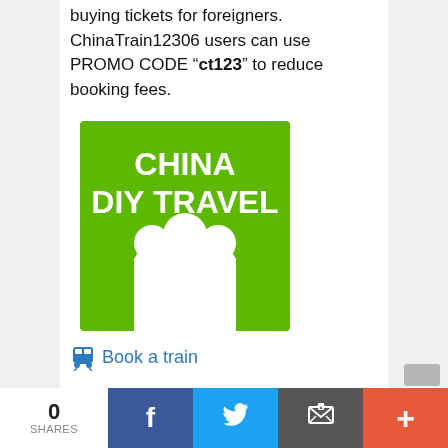buying tickets for foreigners. ChinaTrain12306 users can use PROMO CODE “ct123” to reduce booking fees.
[Figure (logo): China DIY Travel logo — green square background with white text 'CHINA DIY TRAVEL' and white stylized tree/people silhouette shapes]
Book a train